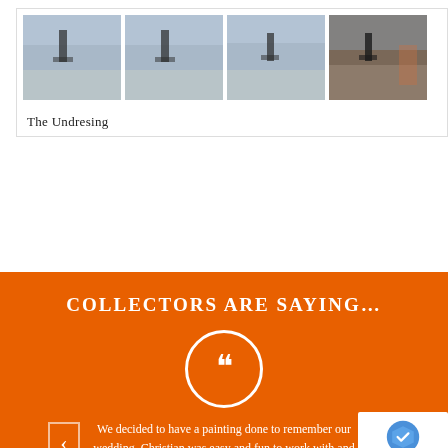[Figure (photo): Four thumbnail photos of a beach scene with a figure standing, shown in a row. The last photo has a warmer, darker tone.]
The Undresing
COLLECTORS ARE SAYING…
[Figure (illustration): A white circle with large opening quotation marks inside, on an orange background.]
We decided to have a painting done to remember our wedding. Christian was easy and fun to work with and communication was excellent. The end result was fantastic, and the